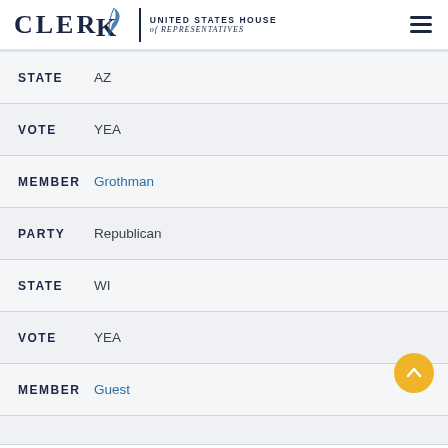CLERK United States House of Representatives
STATE  AZ
VOTE  YEA
MEMBER  Grothman
PARTY  Republican
STATE  WI
VOTE  YEA
MEMBER  Guest